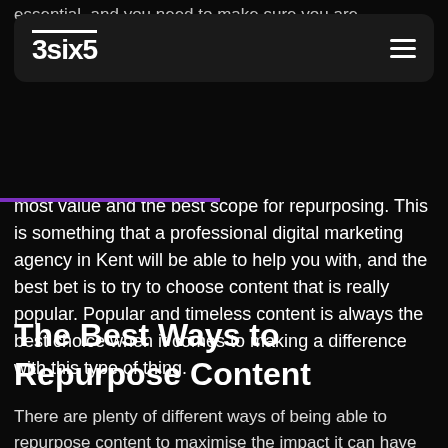essential, and you need to make sure you are
[Figure (logo): 3six5 logo in white text with overline decoration on a dark rounded rectangle navigation bar, with hamburger menu icon on the right]
most value and the best scope for repurposing. This is something that a professional digital marketing agency in Kent will be able to help you with, and the best bet is to try to choose content that is really popular. Popular and timeless content is always the best choice when it comes to making a difference with this type of thing.
The Best Ways to Repurpose Content
There are plenty of different ways of being able to repurpose content to maximise the impact it can have for the business. And a good place to